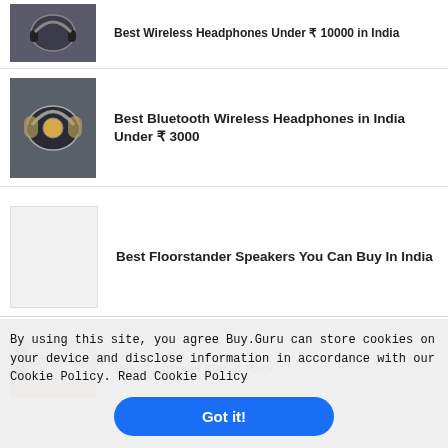Best Wireless Headphones Under ₹ 10000 in India
Best Bluetooth Wireless Headphones in India Under ₹ 3000
Best Floorstander Speakers You Can Buy In India
Best 4 Channel Stereo Rack
Best Home Laser Cleaning Machine
By using this site, you agree Buy.Guru can store cookies on your device and disclose information in accordance with our Cookie Policy. Read Cookie Policy
Got it!